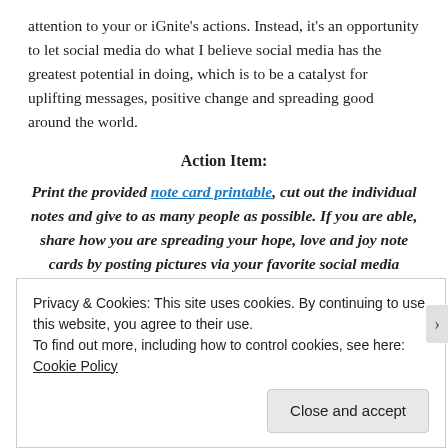attention to your or iGnite’s actions. Instead, it’s an opportunity to let social media do what I believe social media has the greatest potential in doing, which is to be a catalyst for uplifting messages, positive change and spreading good around the world.
Action Item:
Print the provided note card printable, cut out the individual notes and give to as many people as possible. If you are able, share how you are spreading your hope, love and joy note cards by posting pictures via your favorite social media outlets, using the hashtag #spreadhopeloveandjoy and
Privacy & Cookies: This site uses cookies. By continuing to use this website, you agree to their use.
To find out more, including how to control cookies, see here: Cookie Policy